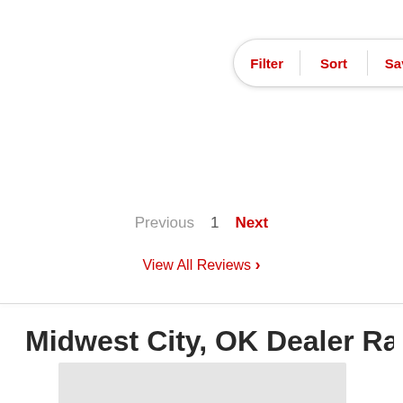[Figure (other): Filter, Sort, Save button bar with rounded pill shape and red text labels separated by dividers]
Previous  1  Next
View All Reviews >
Midwest City, OK Dealer Ratings &